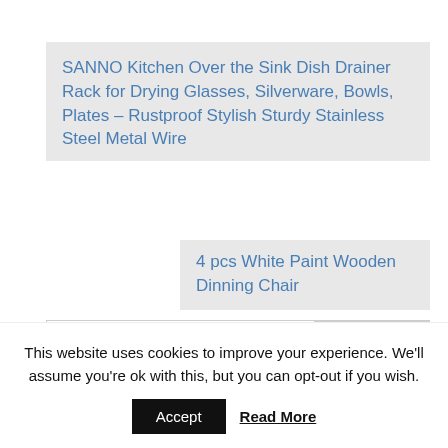SANNO Kitchen Over the Sink Dish Drainer Rack for Drying Glasses, Silverware, Bowls, Plates – Rustproof Stylish Sturdy Stainless Steel Metal Wire
4 pcs White Paint Wooden Dinning Chair
Search ...
RECENT POSTS
This website uses cookies to improve your experience. We'll assume you're ok with this, but you can opt-out if you wish.
Accept
Read More